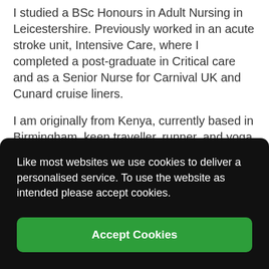I studied a BSc Honours in Adult Nursing in Leicestershire. Previously worked in an acute stroke unit, Intensive Care, where I completed a post-graduate in Critical care and as a Senior Nurse for Carnival UK and Cunard cruise liners.
I am originally from Kenya, currently based in Birmingham, keen traveller, runner, and yoga fanatic.
Like most websites we use cookies to deliver a personalised service. To use the website as intended please accept cookies.
Accept Cookies